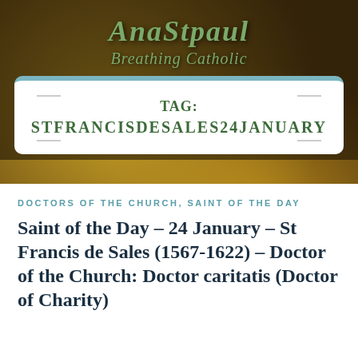AnaStpaul
Breathing Catholic
TAG: STFRANCISDESALES24JANUARY
DOCTORS OF THE CHURCH, SAINT OF THE DAY
Saint of the Day – 24 January – St Francis de Sales (1567-1622) – Doctor of the Church: Doctor caritatis (Doctor of Charity)